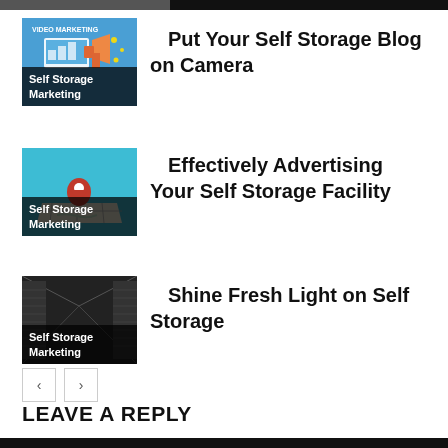[Figure (screenshot): Thumbnail image for video marketing article showing 'VIDEO MARKETING' text with megaphone and screen graphic on blue background, with 'Self Storage Marketing' label at bottom]
Put Your Self Storage Blog on Camera
[Figure (screenshot): Thumbnail image showing a red map pin location marker on a road map with teal/blue background, with 'Self Storage Marketing' label at bottom]
Effectively Advertising Your Self Storage Facility
[Figure (photo): Dark photo of a self storage facility hallway with rolling metal doors, with 'Self Storage Marketing' label at bottom]
Shine Fresh Light on Self Storage
LEAVE A REPLY